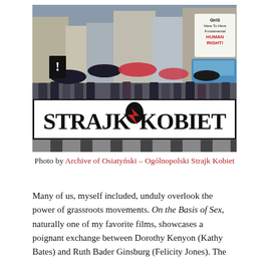[Figure (photo): A protest march showing demonstrators holding a large banner reading 'STRAJK KOBIET' (Women's Strike in Polish) with a red lightning bolt symbol. People carry umbrellas and signs, one reading 'Girls Have To Have Fundamental Human Rights'.]
Photo by Archive of Osiatyński – Ogólnopolski Strajk Kobiet
Many of us, myself included, unduly overlook the power of grassroots movements. On the Basis of Sex, naturally one of my favorite films, showcases a poignant exchange between Dorothy Kenyon (Kathy Bates) and Ruth Bader Ginsburg (Felicity Jones). The